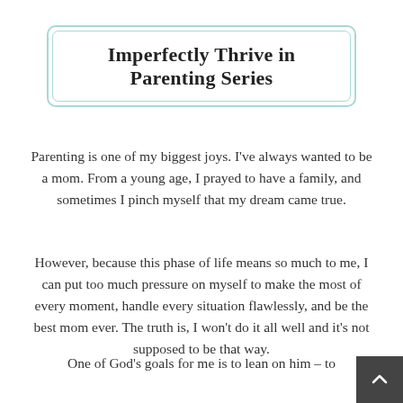Imperfectly Thrive in Parenting Series
Parenting is one of my biggest joys. I've always wanted to be a mom. From a young age, I prayed to have a family, and sometimes I pinch myself that my dream came true.
However, because this phase of life means so much to me, I can put too much pressure on myself to make the most of every moment, handle every situation flawlessly, and be the best mom ever. The truth is, I won't do it all well and it's not supposed to be that way.
One of God's goals for me is to lean on him – to